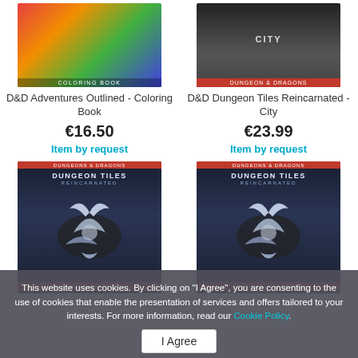[Figure (photo): D&D Adventures Outlined Coloring Book cover with colorful monster artwork]
[Figure (photo): D&D Dungeon Tiles Reincarnated - City cover with dark city artwork]
D&D Adventures Outlined - Coloring Book
€16.50
Item by request
D&D Dungeon Tiles Reincarnated - City
€23.99
Item by request
[Figure (photo): D&D Dungeon Tiles Reincarnated cover with dragon artwork (left)]
[Figure (photo): D&D Dungeon Tiles Reincarnated cover with dragon artwork (right)]
This website uses cookies. By clicking on "I Agree", you are consenting to the use of cookies that enable the presentation of services and offers tailored to your interests. For more information, read our Cookie Policy.
I Agree